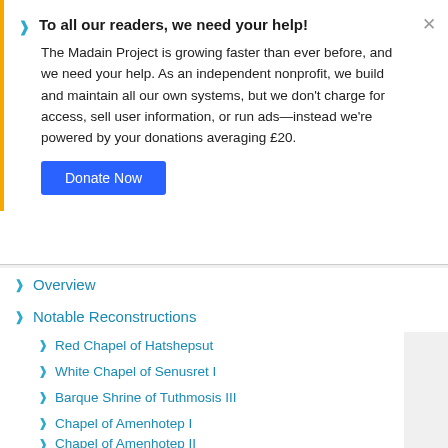To all our readers, we need your help! The Madain Project is growing faster than ever before, and we need your help. As an independent nonprofit, we build and maintain all our own systems, but we don't charge for access, sell user information, or run ads—instead we're powered by your donations averaging £20.
Donate Now
Overview
Notable Reconstructions
Red Chapel of Hatshepsut
White Chapel of Senusret I
Barque Shrine of Tuthmosis III
Chapel of Amenhotep I
Chapel of Amenhotep II
Chapel of Thutmosis IV
Peristyle Hall of Thutmosis IV
See Also
References